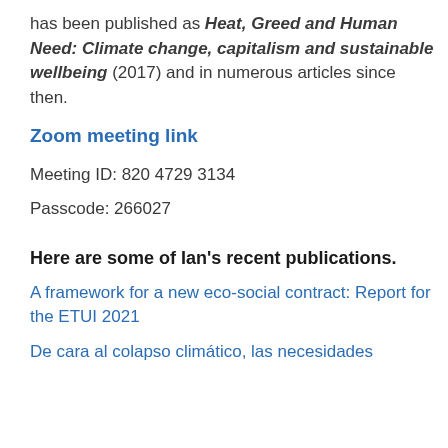has been published as Heat, Greed and Human Need: Climate change, capitalism and sustainable wellbeing (2017) and in numerous articles since then.
Zoom meeting link
Meeting ID: 820 4729 3134
Passcode: 266027
Here are some of Ian's recent publications.
A framework for a new eco-social contract: Report for the ETUI 2021
De cara al colapso climático, las necesidades